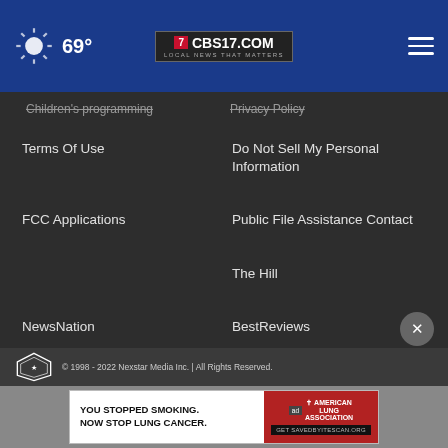69° CBS17.COM LOCAL NEWS THAT MATTERS
Children's programming
Privacy Policy
Terms Of Use
Do Not Sell My Personal Information
FCC Applications
Public File Assistance Contact
The Hill
NewsNation
BestReviews
Content Licensing
Nexstar Digital
© 1998 - 2022 Nexstar Media Inc. | All Rights Reserved.
[Figure (screenshot): Advertisement banner: YOU STOPPED SMOKING. NOW STOP LUNG CANCER. American Lung Association - Get SAVEDBYITESCAN.ORG]